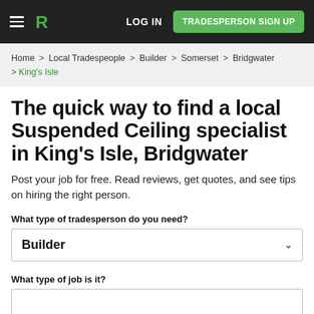LOG IN | TRADESPERSON SIGN UP
Home > Local Tradespeople > Builder > Somerset > Bridgwater > King's Isle
The quick way to find a local Suspended Ceiling specialist in King's Isle, Bridgwater
Post your job for free. Read reviews, get quotes, and see tips on hiring the right person.
What type of tradesperson do you need?
Builder
What type of job is it?